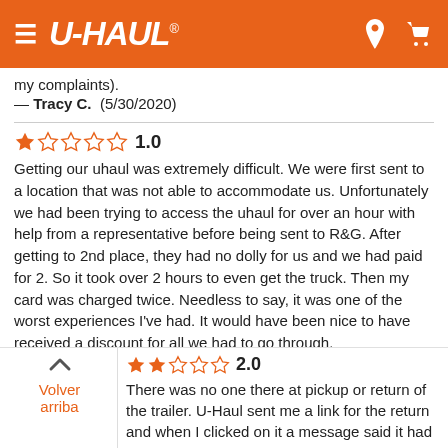U-HAUL
my complaints).
— Tracy C.  (5/30/2020)
★☆☆☆☆ 1.0
Getting our uhaul was extremely difficult. We were first sent to a location that was not able to accommodate us. Unfortunately we had been trying to access the uhaul for over an hour with help from a representative before being sent to R&G. After getting to 2nd place, they had no dolly for us and we had paid for 2. So it took over 2 hours to even get the truck. Then my card was charged twice. Needless to say, it was one of the worst experiences I've had. It would have been nice to have received a discount for all we had to go through.
— Ryan B.  (4/21/2020)
★★☆☆☆ 2.0
There was no one there at pickup or return of the trailer. U-Haul sent me a link for the return and when I clicked on it a message said it had